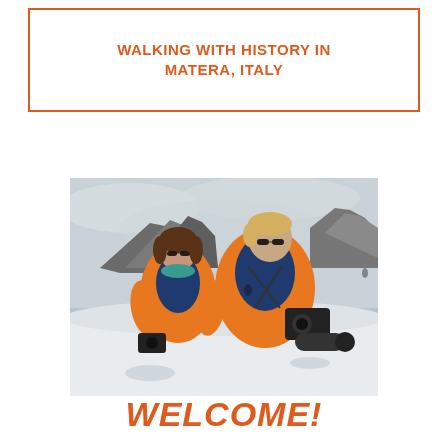WALKING WITH HISTORY IN MATERA, ITALY
[Figure (photo): Two people wearing bright orange and navy life jackets standing on a snowy landscape with rocky outcroppings in the background. The person on the left is a shorter woman with brown hair and sunglasses, and the person on the right is a taller man with blonde hair and sunglasses holding large camera equipment.]
WELCOME!